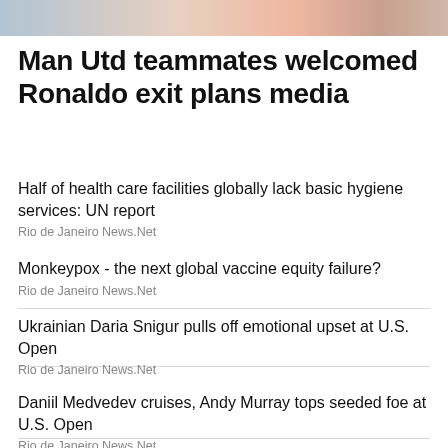[Figure (photo): Partial photo strip at top showing people, one wearing a Manchester United jersey]
Man Utd teammates welcomed Ronaldo exit plans media
Half of health care facilities globally lack basic hygiene services: UN report
Rio de Janeiro News.Net
Monkeypox - the next global vaccine equity failure?
Rio de Janeiro News.Net
Ukrainian Daria Snigur pulls off emotional upset at U.S. Open
Rio de Janeiro News.Net
Daniil Medvedev cruises, Andy Murray tops seeded foe at U.S. Open
Rio de Janeiro News.Net